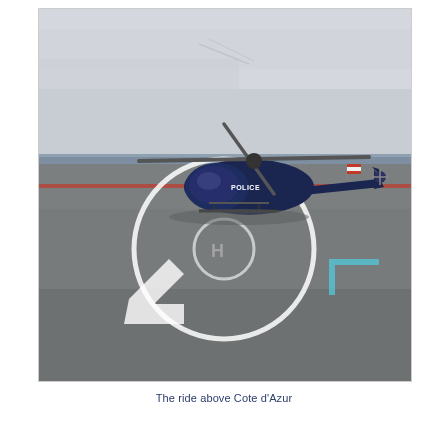[Figure (photo): A dark navy blue helicopter on a helipad with landing circle markings and directional arrows painted on the tarmac. An overcast sky is visible in the background along with a body of water (sea). The helicopter appears to be a police or official helicopter with markings visible on the fuselage. A small red flag or marker is visible near the tail rotor area.]
The ride above Cote d'Azur